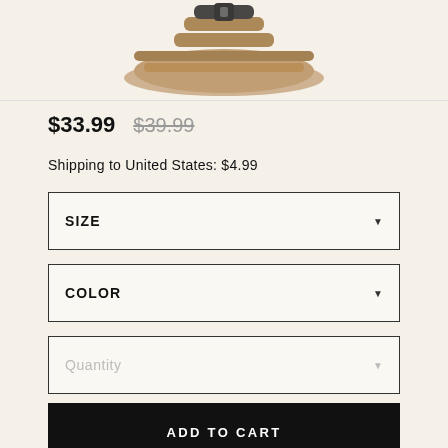[Figure (photo): Partial top view of a brown sandal/fisherman shoe with dark straps, cropped at top of page]
$33.99 $39.99
Shipping to United States: $4.99
SIZE (dropdown selector)
COLOR (dropdown selector)
Quantity (dropdown selector)
ADD TO CART